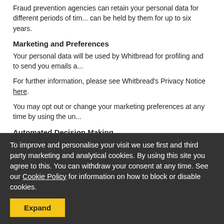Fraud prevention agencies can retain your personal data for different periods of time, and can be held by them for up to six years.
Marketing and Preferences
Your personal data will be used by Whitbread for profiling and to send you emails a...
For further information, please see Whitbread's Privacy Notice here.
You may opt out or change your marketing preferences at any time by using the un...
Automated Decision Making
Our decision regarding eligibility for a business account card may be influenced by... credit rating is determined by the automated processing of your data. You can obta...
Overseas transfers of personal data
Since Worldline operates globally, your data may be transferred to affiliates and thi... strong data protection laws as may be in place in the UK or within the EEA. This is... communications that you receive may be provided via a US based supplier.
In any such cases we will ensure that adequate safeguards are in place to protect y...
If you would like more information on this, then please contact us at premiering bus...
To improve and personalise your visit we use first and third party marketing and analytical cookies. By using this site you agree to this. You can withdraw your consent at any time. See our Cookie Policy for information on how to block or disable cookies.